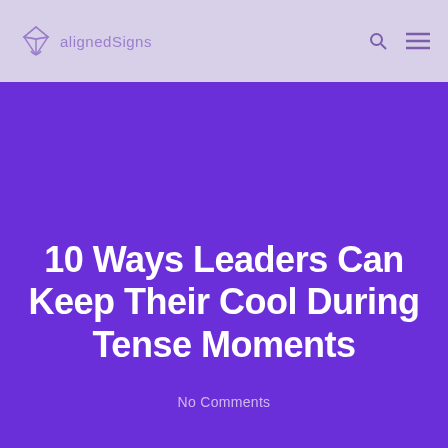alignedSigns
10 Ways Leaders Can Keep Their Cool During Tense Moments
No Comments